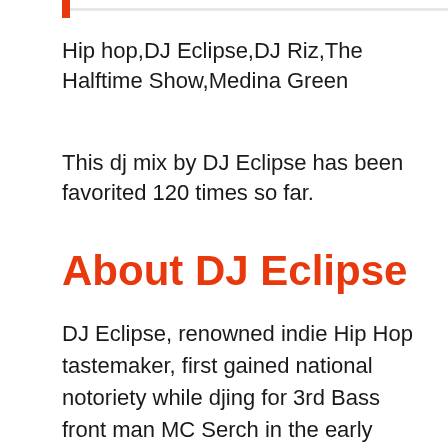Hip hop,DJ Eclipse,DJ Riz,The Halftime Show,Medina Green
This dj mix by DJ Eclipse has been favorited 120 times so far.
About DJ Eclipse
DJ Eclipse, renowned indie Hip Hop tastemaker, first gained national notoriety while djing for 3rd Bass front man MC Serch in the early 90's. His reputation grew in the mid 90's by filling in for Stretch Armstrong on his weekly 89.9 radio